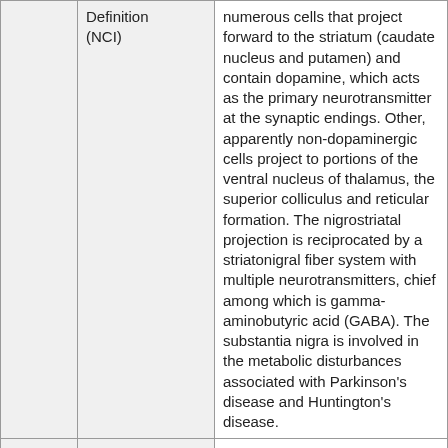|  |  |  |
| --- | --- | --- |
|  | Definition (NCI) | numerous cells that project forward to the striatum (caudate nucleus and putamen) and contain dopamine, which acts as the primary neurotransmitter at the synaptic endings. Other, apparently non-dopaminergic cells project to portions of the ventral nucleus of thalamus, the superior colliculus and reticular formation. The nigrostriatal projection is reciprocated by a striatonigral fiber system with multiple neurotransmitters, chief among which is gamma-aminobutyric acid (GABA). The substantia nigra is involved in the metabolic disturbances associated with Parkinson's disease and Huntington's disease. |
|  |  | A large cell mass extending forward, over the dorsal surface of the crus cerebri, from the |